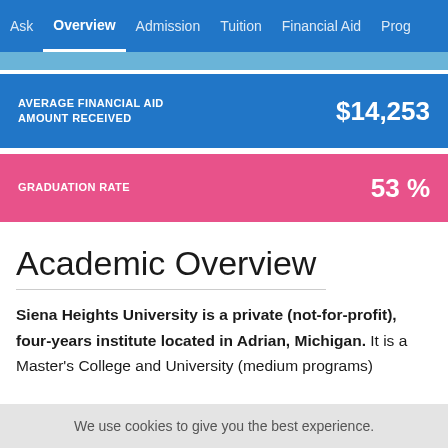Ask | Overview | Admission | Tuition | Financial Aid | Prog
AVERAGE FINANCIAL AID AMOUNT RECEIVED   $14,253
GRADUATION RATE   53 %
Academic Overview
Siena Heights University is a private (not-for-profit), four-years institute located in Adrian, Michigan. It is a Master's College and University (medium programs).
We use cookies to give you the best experience.